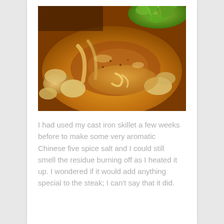[Figure (photo): Close-up photo of a cooked steak with mushrooms in a golden-brown sauce, garnished with fresh green herbs (parsley) in the background.]
I had used my cast iron skillet a few weeks before to make some very aromatic Chinese five spice salt and I could still smell the residue burning off as I heated it up. I wondered if it would add anything special to the steak; I can't say that it did.